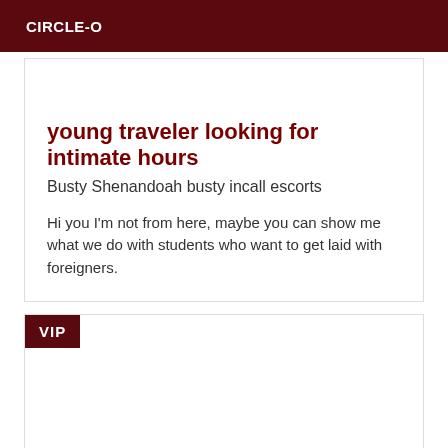CIRCLE-O
young traveler looking for intimate hours
Busty Shenandoah busty incall escorts
Hi you I'm not from here, maybe you can show me what we do with students who want to get laid with foreigners.
VIP